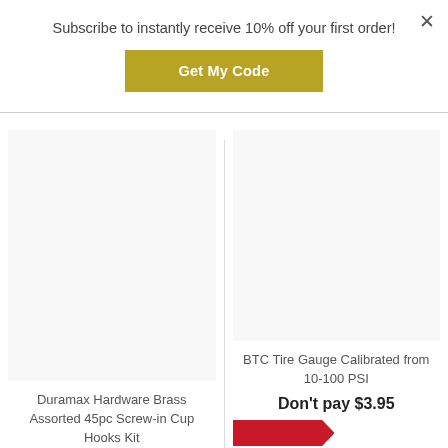Subscribe to instantly receive 10% off your first order!
Get My Code
Duramax Hardware Brass Assorted 45pc Screw-in Cup Hooks Kit
BTC Tire Gauge Calibrated from 10-100 PSI
Don't pay $3.95